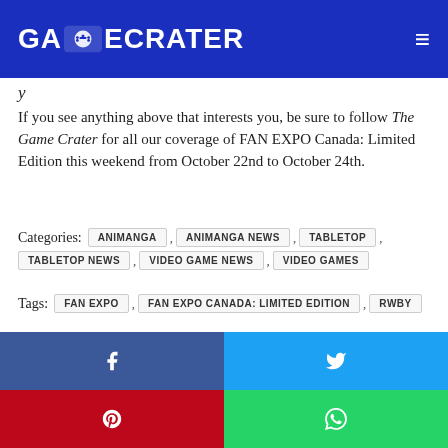GAMECRATER
y
If you see anything above that interests you, be sure to follow The Game Crater for all our coverage of FAN EXPO Canada: Limited Edition this weekend from October 22nd to October 24th.
Categories: ANIMANGA , ANIMANGA NEWS , TABLETOP , TABLETOP NEWS , VIDEO GAME NEWS , VIDEO GAMES
Tags: FAN EXPO , FAN EXPO CANADA: LIMITED EDITION , RWBY
[Figure (other): Social share buttons: Facebook, Twitter, Pinterest, WhatsApp]